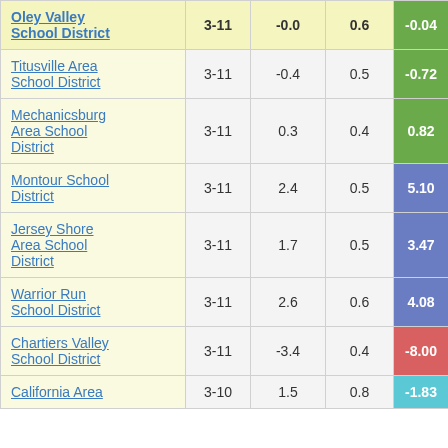| District | Grades | Col3 | Col4 | Score |
| --- | --- | --- | --- | --- |
| Oley Valley School District | 3-11 | -0.0 | 0.6 | -0.04 |
| Titusville Area School District | 3-11 | -0.4 | 0.5 | -0.72 |
| Mechanicsburg Area School District | 3-11 | 0.3 | 0.4 | 0.82 |
| Montour School District | 3-11 | 2.4 | 0.5 | 5.10 |
| Jersey Shore Area School District | 3-11 | 1.7 | 0.5 | 3.47 |
| Warrior Run School District | 3-11 | 2.6 | 0.6 | 4.08 |
| Chartiers Valley School District | 3-11 | -3.4 | 0.4 | -8.00 |
| California Area | 3-10 | 1.5 | 0.8 | -1.83 |